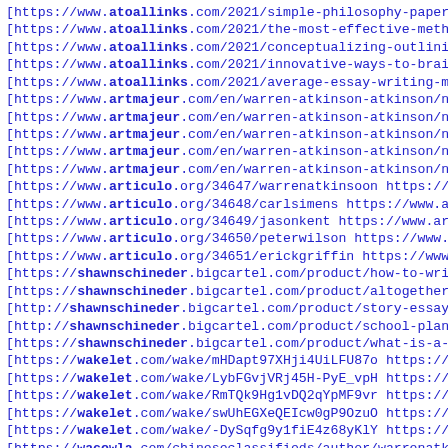[https://www.atoallinks.com/2021/simple-philosophy-paper-to
[https://www.atoallinks.com/2021/the-most-effective-method-
[https://www.atoallinks.com/2021/conceptualizing-outlining-
[https://www.atoallinks.com/2021/innovative-ways-to-brainst
[https://www.atoallinks.com/2021/average-essay-writing-mist
[https://www.artmajeur.com/en/warren-atkinson-atkinson/news
[https://www.artmajeur.com/en/warren-atkinson-atkinson/news
[https://www.artmajeur.com/en/warren-atkinson-atkinson/news
[https://www.artmajeur.com/en/warren-atkinson-atkinson/news
[https://www.artmajeur.com/en/warren-atkinson-atkinson/news
[https://www.articulo.org/34647/warrenatkinsoon https://www
[https://www.articulo.org/34648/carlsimens https://www.arti
[https://www.articulo.org/34649/jasonkent https://www.artic
[https://www.articulo.org/34650/peterwilson https://www.art
[https://www.articulo.org/34651/erickgriffin https://www.ar
[https://shawnschineder.bigcartel.com/product/how-to-write-
[https://shawnschineder.bigcartel.com/product/altogether-ex
[http://shawnschineder.bigcartel.com/product/story-essay-wr
[http://shawnschineder.bigcartel.com/product/school-plannin
[https://shawnschineder.bigcartel.com/product/what-is-a-boo
[https://wakelet.com/wake/mHDapt97XHji4UiLFU87o https://wak
[https://wakelet.com/wake/LybFGvjVRj45H-PyE_vpH https://wak
[https://wakelet.com/wake/RmTQk9Hg1vDQ2qYpMF9vr https://wak
[https://wakelet.com/wake/swUhEGXeQEIcw0gP9OzuO https://wak
[https://wakelet.com/wake/-DySqfg9y1fiE4z68yKlY https://wak
[https://wacowla.com/chineseclassifieds/author/warrenatkins
[https://wacowla.com/chineseclassifieds/author/shawnschneid
[https://wacowla.com/chineseclassifieds/author/carlsimens/
[https://wacowla.com/chineseclassifieds/author/erickgriffin
[https://wacowla.com/chineseclassifieds/author/albertatrin